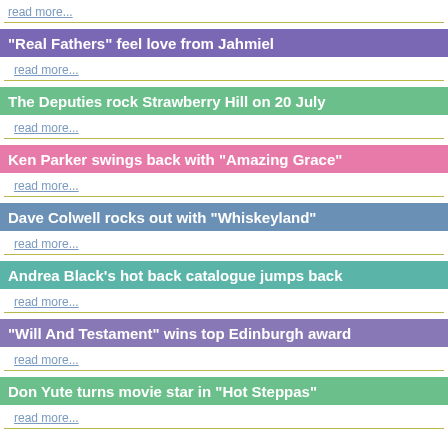read more...
"Real Fathers" feel love from Jahmiel
read more...
The Deputies rock Strawberry Hill on 20 July
read more...
Ken Parker swings back with "Amazing Grace"
read more...
Dave Colwell rocks out with "Whiskeyland"
read more...
Andrea Black's hot back catalogue jumps back
read more...
"Will And Testament" wins top Edinburgh award
read more...
Don Yute turns movie star in "Hot Steppas"
read more...